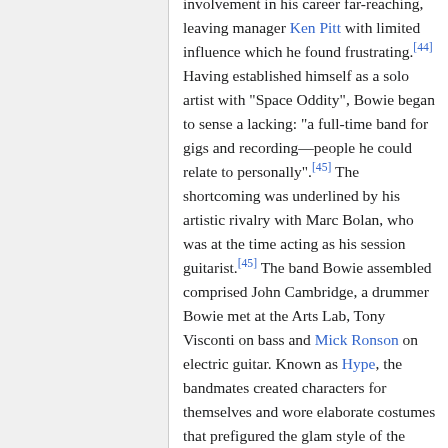involvement in his career far-reaching, leaving manager Ken Pitt with limited influence which he found frustrating.[44] Having established himself as a solo artist with "Space Oddity", Bowie began to sense a lacking: "a full-time band for gigs and recording—people he could relate to personally".[45] The shortcoming was underlined by his artistic rivalry with Marc Bolan, who was at the time acting as his session guitarist.[45] The band Bowie assembled comprised John Cambridge, a drummer Bowie met at the Arts Lab, Tony Visconti on bass and Mick Ronson on electric guitar. Known as Hype, the bandmates created characters for themselves and wore elaborate costumes that prefigured the glam style of the Spiders from Mars. After a disastrous opening gig at the London